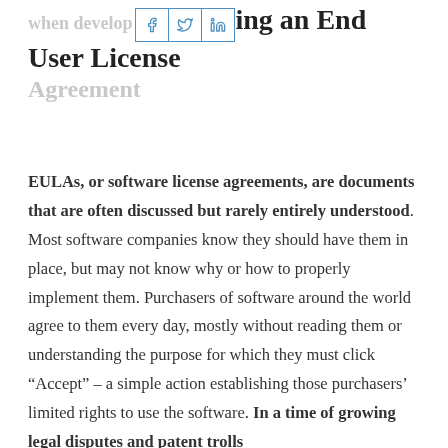when developing an End User License Agreement
EULAs, or software license agreements, are documents that are often discussed but rarely entirely understood. Most software companies know they should have them in place, but may not know why or how to properly implement them. Purchasers of software around the world agree to them every day, mostly without reading them or understanding the purpose for which they must click “Accept” – a simple action establishing those purchasers’ limited rights to use the software. In a time of growing legal disputes and patent trolls